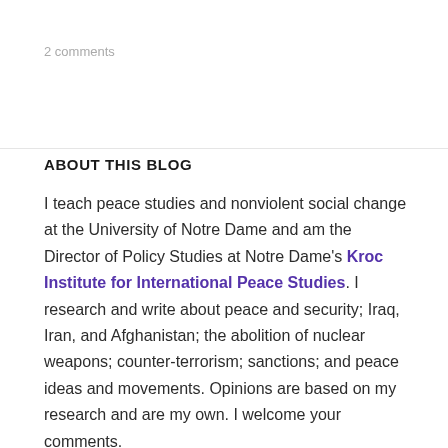2 comments
ABOUT THIS BLOG
I teach peace studies and nonviolent social change at the University of Notre Dame and am the Director of Policy Studies at Notre Dame's Kroc Institute for International Peace Studies. I research and write about peace and security; Iraq, Iran, and Afghanistan; the abolition of nuclear weapons; counter-terrorism; sanctions; and peace ideas and movements. Opinions are based on my research and are my own. I welcome your comments.